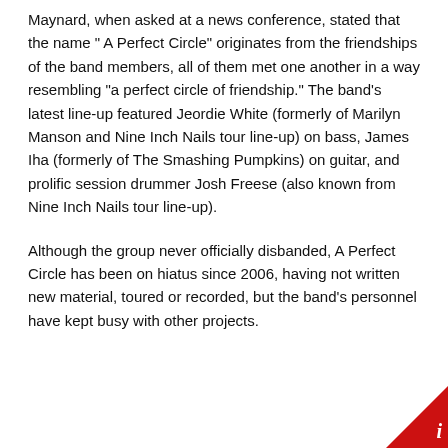Maynard, when asked at a news conference, stated that the name "A Perfect Circle" originates from the friendships of the band members, all of them met one another in a way resembling "a perfect circle of friendship." The band's latest line-up featured Jeordie White (formerly of Marilyn Manson and Nine Inch Nails tour line-up) on bass, James Iha (formerly of The Smashing Pumpkins) on guitar, and prolific session drummer Josh Freese (also known from Nine Inch Nails tour line-up).
Although the group never officially disbanded, A Perfect Circle has been on hiatus since 2006, having not written new material, toured or recorded, but the band's personnel have kept busy with other projects.
JOIN THE MERCH STORE MAILING
VOORWAARDEN & CONDITIES
HELP & VEEL GESTELDE VRA
VERZENDREGIO'S EN PRIJZEN
RETOURNEREN
[Figure (infographic): Cookie consent popup: dark brown circle with white text 'This webstore uses cookies', subtitle 'Are you happy to continue to use the store?', green checkmark button and red X button, and text 'You can find out more about our cookies in our privacy policy here' with underlined 'here' link.]